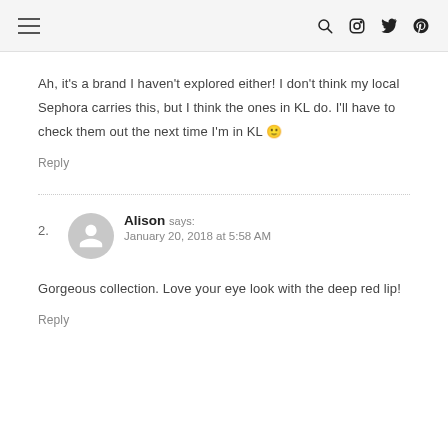[hamburger menu icon] [search icon] [instagram icon] [twitter icon] [pinterest icon]
Ah, it's a brand I haven't explored either! I don't think my local Sephora carries this, but I think the ones in KL do. I'll have to check them out the next time I'm in KL 🙂
Reply
2. Alison says: January 20, 2018 at 5:58 AM
Gorgeous collection. Love your eye look with the deep red lip!
Reply